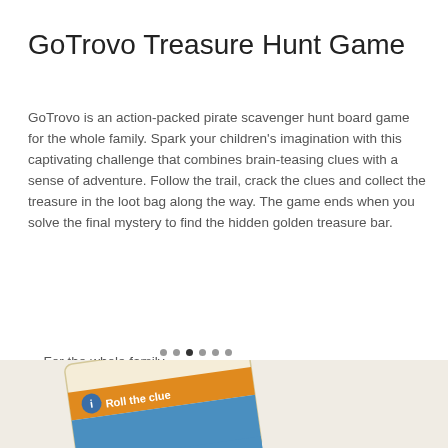GoTrovo Treasure Hunt Game
GoTrovo is an action-packed pirate scavenger hunt board game for the whole family. Spark your children's imagination with this captivating challenge that combines brain-teasing clues with a sense of adventure. Follow the trail, crack the clues and collect the treasure in the loot bag along the way. The game ends when you solve the final mystery to find the hidden golden treasure bar.
For the whole family
Award winning
Fun way to learn
[Figure (photo): Partially visible game card with orange stripe and text 'Roll the clue' with an info icon, shown at an angle at the bottom of the page.]